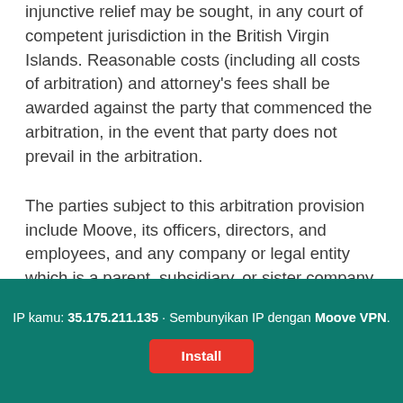injunctive relief may be sought, in any court of competent jurisdiction in the British Virgin Islands. Reasonable costs (including all costs of arbitration) and attorney's fees shall be awarded against the party that commenced the arbitration, in the event that party does not prevail in the arbitration.
The parties subject to this arbitration provision include Moove, its officers, directors, and employees, and any company or legal entity which is a parent, subsidiary, or sister company to Moove, or with which Moove has contracted to provide
IP kamu: 35.175.211.135 · Sembunyikan IP dengan Moove VPN. Install